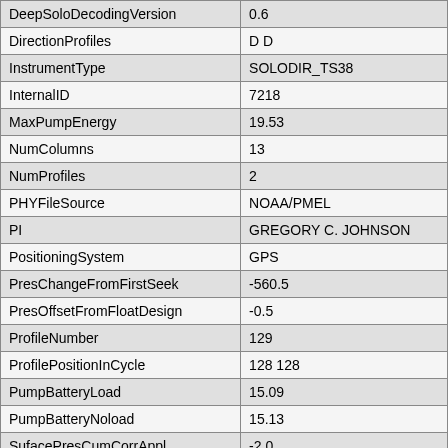| Key | Value |
| --- | --- |
| DeepSoloDecodingVersion | 0.6 |
| DirectionProfiles | D D |
| InstrumentType | SOLODIR_TS38 |
| InternalID | 7218 |
| MaxPumpEnergy | 19.53 |
| NumColumns | 13 |
| NumProfiles | 2 |
| PHYFileSource | NOAA/PMEL |
| PI | GREGORY C. JOHNSON |
| PositioningSystem | GPS |
| PresChangeFromFirstSeek | -560.5 |
| PresOffsetFromFloatDesign | -0.5 |
| ProfileNumber | 129 |
| ProfilePositionInCycle | 128 128 |
| PumpBatteryLoad | 15.09 |
| PumpBatteryNoload | 15.13 |
| SufacePresCumCorrAppl | -2.0 |
| SurfacePresAfterReset | 0.2 |
| SurfacePresBeforeReset | -0.5 |
| TimePistonRanFirstSeek | 17 |
| TransmissionID | 12001 |